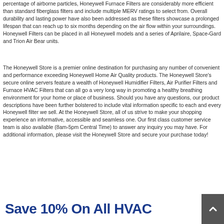percentage of airborne particles, Honeywell Furnace Filters are considerably more efficient than standard fiberglass filters and include multiple MERV ratings to select from. Overall durability and lasting power have also been addressed as these filters showcase a prolonged lifespan that can reach up to six months depending on the air flow within your surroundings. Honeywell Filters can be placed in all Honeywell models and a series of Aprilaire, Space-Gard and Trion Air Bear units.
The Honeywell Store is a premier online destination for purchasing any number of convenient and performance exceeding Honeywell Home Air Quality products. The Honeywell Store's secure online servers feature a wealth of Honeywell Humidifier Filters, Air Purifier Filters and Furnace HVAC Filters that can all go a very long way in promoting a healthy breathing environment for your home or place of business. Should you have any questions, our product descriptions have been further bolstered to include vital information specific to each and every Honeywell filter we sell. At the Honeywell Store, all of us strive to make your shopping experience an informative, accessible and seamless one. Our first class customer service team is also available (8am-5pm Central Time) to answer any inquiry you may have. For additional information, please visit the Honeywell Store and secure your purchase today!
Save 10% On All HVAC